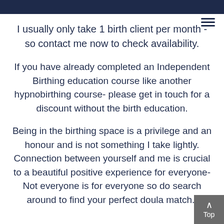I usually only take 1 birth client per month - so contact me now to check availability.
If you have already completed an Independent Birthing education course like another hypnobirthing course- please get in touch for a discount without the birth education.
Being in the birthing space is a privilege and an honour and is not something I take lightly. Connection between yourself and me is crucial to a beautiful positive experience for everyone- Not everyone is for everyone so do search around to find your perfect doula match..